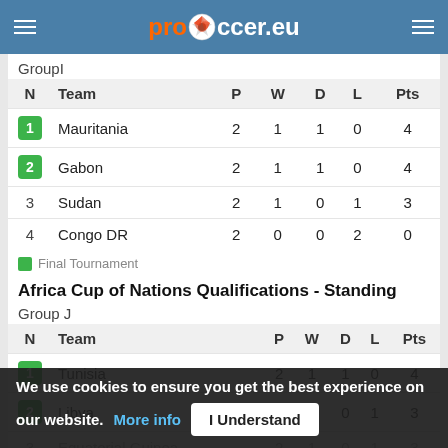prosoccer.eu
Group I
| N | Team | P | W | D | L | Pts |
| --- | --- | --- | --- | --- | --- | --- |
| 1 | Mauritania | 2 | 1 | 1 | 0 | 4 |
| 2 | Gabon | 2 | 1 | 1 | 0 | 4 |
| 3 | Sudan | 2 | 1 | 0 | 1 | 3 |
| 4 | Congo DR | 2 | 0 | 0 | 2 | 0 |
Final Tournament
Africa Cup of Nations Qualifications - Standing
Group J
| N | Team | P | W | D | L | Pts |
| --- | --- | --- | --- | --- | --- | --- |
| 1 | Tunisia | 2 | 1 | 1 | 0 | 4 |
| 2 | Libya | 2 | 1 | 0 | 1 | 3 |
| 3 | Equatorial Guinea | 2 | 1 | 0 | 1 | 3 |
| 4 | Botswana | 2 | 0 | 1 | 1 | 1 |
Final Tournament
Africa Cup of Nations Qualifications - Standing